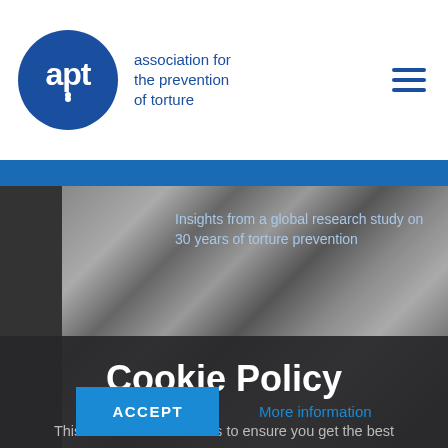apt — association for the prevention of torture
[Figure (photo): Black and white close-up photograph of hands clasped together, with a blue horizontal banner above it and text overlay reading 'Insights from a global research study on 30 years of torture prevention']
Insights from a global research study on 30 years of torture prevention
Cookie Policy
This website uses cookies to ensure you get the best experience on our website. By continuing to use this website you are giving consent to cookies being used.
ACCEPT   More information